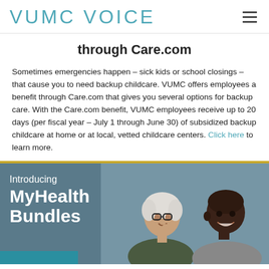VUMC VOICE
through Care.com
Sometimes emergencies happen – sick kids or school closings – that cause you to need backup childcare. VUMC offers employees a benefit through Care.com that gives you several options for backup care. With the Care.com benefit, VUMC employees receive up to 20 days (per fiscal year – July 1 through June 30) of subsidized backup childcare at home or at local, vetted childcare centers. Click here to learn more.
[Figure (photo): Promotional banner with teal/grey background showing two people smiling — an older white woman with glasses and a Black man — with text 'Introducing MyHealth Bundles' on the left side in white.]